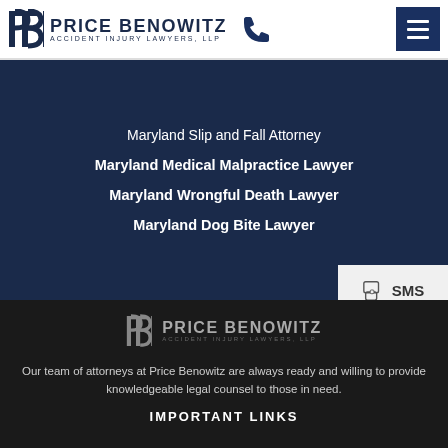[Figure (logo): Price Benowitz Accident Injury Lawyers LLP logo with phone icon in header]
Maryland Slip and Fall Attorney
Maryland Medical Malpractice Lawyer
Maryland Wrongful Death Lawyer
Maryland Dog Bite Lawyer
[Figure (logo): Price Benowitz Accident Injury Lawyers LLP logo in footer (dark background)]
Our team of attorneys at Price Benowitz are always ready and willing to provide knowledgeable legal counsel to those in need.
IMPORTANT LINKS